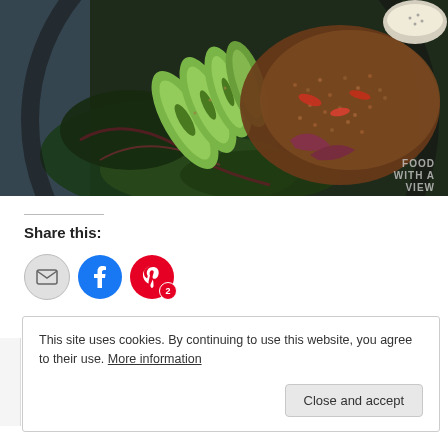[Figure (photo): Top-down photo of a dark skillet or bowl with avocado slices, quinoa, sautéed greens (chard/kale), red peppers, and red onions. A small bowl of seeds is visible in the top right corner. A blue-gray cloth napkin is on the left side. 'FOOD WITH A VIEW' watermark in the bottom right corner.]
Share this:
[Figure (infographic): Three social sharing buttons: email (gray circle with envelope icon), Facebook (blue circle with f icon), Pinterest (red circle with P icon and badge showing '2')]
This site uses cookies. By continuing to use this website, you agree to their use. More information
Close and accept